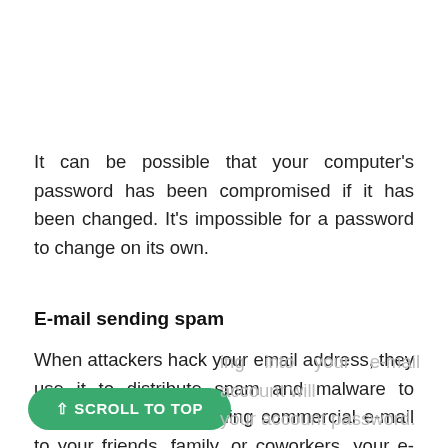It can be possible that your computer's password has been compromised if it has been changed. It's impossible for a password to change on its own.
E-mail sending spam
When attackers hack your email address, they use it to distribute spam and malware to others. If you are sending commercial e-mail to your friends, family, or coworkers, your e-mail account may have been hacked. Logging into your e-mail account will allow you to change your account password.